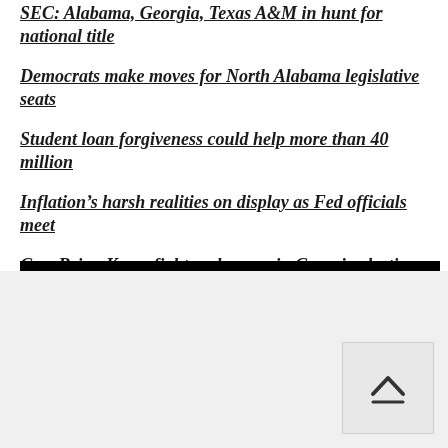SEC: Alabama, Georgia, Texas A&M in hunt for national title
Democrats make moves for North Alabama legislative seats
Student loan forgiveness could help more than 40 million
Inflation's harsh realities on display as Fed officials meet
Gov. Brian Kemp fights subpoena in Georgia election probe
Affidavit: Hooper grabbed woman's breasts, kissed her neck in Montgomery restaurant